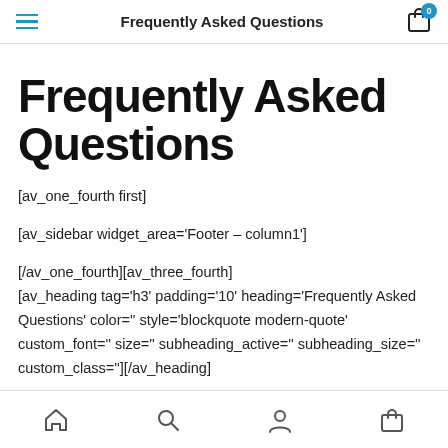Frequently Asked Questions
Frequently Asked Questions
[av_one_fourth first]

[av_sidebar widget_area='Footer – column1']

[/av_one_fourth][av_three_fourth]
[av_heading tag='h3' padding='10' heading='Frequently Asked Questions' color='' style='blockquote modern-quote' custom_font='' size='' subheading_active='' subheading_size='' custom_class=''][/av_heading]

[av_toggle_container initial='0' mode='accordion' sort='']